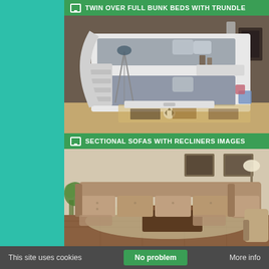[Figure (screenshot): Screenshot of a furniture website showing two product image sections on a teal background with a dark center column. Top section shows 'Twin Over Full Bunk Beds With Trundle' with a photo of a white bunk bed with stairs in a kids room. Bottom section shows 'Sectional Sofas With Recliners Images' with a photo of a large tan sectional sofa with recliners in a living room. A cookie consent bar appears at the bottom.]
This site uses cookies   No problem   More info